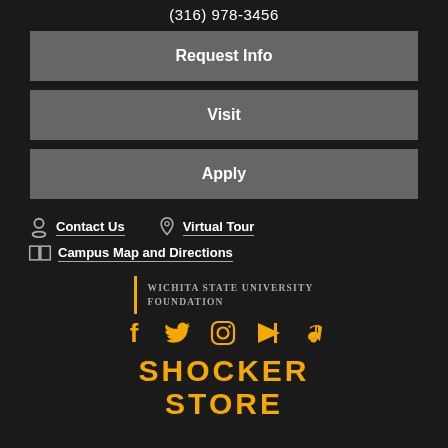(316) 978-3456
Request Info
Visit
Apply
Contact Us
Virtual Tour
Campus Map and Directions
Wichita State University Foundation
[Figure (logo): Social media icons: Facebook, Twitter, Instagram, YouTube, TikTok in yellow/gold]
SHOCKER STORE